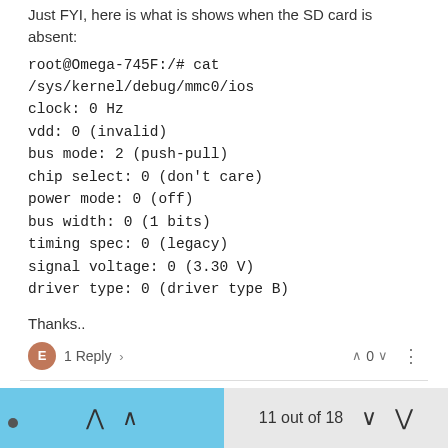Just FYI, here is what is shows when the SD card is absent:
root@Omega-745F:/# cat /sys/kernel/debug/mmc0/ios
clock: 0 Hz
vdd: 0 (invalid)
bus mode: 2 (push-pull)
chip select: 0 (don't care)
power mode: 0 (off)
bus width: 0 (1 bits)
timing spec: 0 (legacy)
signal voltage: 0 (3.30 V)
driver type: 0 (driver type B)
Thanks..
1 Reply
evelina 24 Sept 2020, 08:10
@crispyoz Hello, thanks for the suggestion, but your test gave the following result. no file or folder is saved after the reboot
11 out of 18